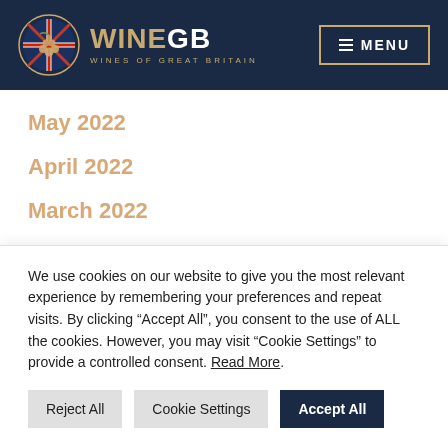[Figure (logo): WineGB - Wines of Great Britain logo with Union Jack grape motif, header navigation bar with MENU button]
May 2022
April 2022
March 2022
February 2022
January 2022
We use cookies on our website to give you the most relevant experience by remembering your preferences and repeat visits. By clicking “Accept All”, you consent to the use of ALL the cookies. However, you may visit “Cookie Settings” to provide a controlled consent. Read More.
Reject All | Cookie Settings | Accept All